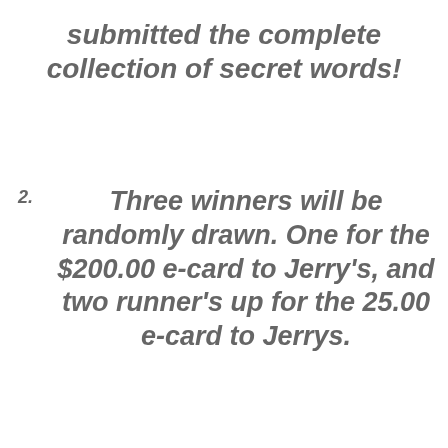submitted the complete collection of secret words!
2. Three winners will be randomly drawn. One for the $200.00 e-card to Jerry's, and two runner's up for the 25.00 e-card to Jerrys.
Person who completes all the...